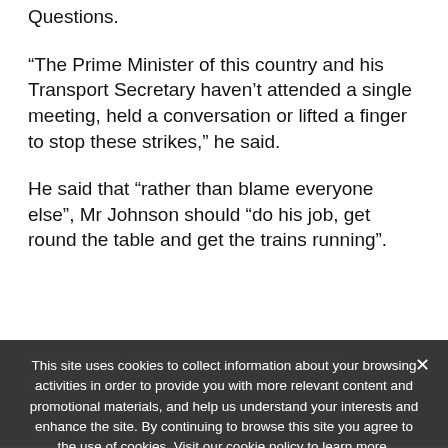Questions.
“The Prime Minister of this country and his Transport Secretary haven’t attended a single meeting, held a conversation or lifted a finger to stop these strikes,” he said.
He said that “rather than blame everyone else”, Mr Johnson should “do his job, get round the table and get the trains running”.
Responding, Mr Johnson pointed out that Shadow Transport Secretary… (obscured by cookie overlay)
Tuesday strike… (obscured)
“Labour is backing the strike while we back… (obscured)
This site uses cookies to collect information about your browsing activities in order to provide you with more relevant content and promotional materials, and help us understand your interests and enhance the site. By continuing to browse this site you agree to the use of cookies. Visit our cookie policy to learn more.